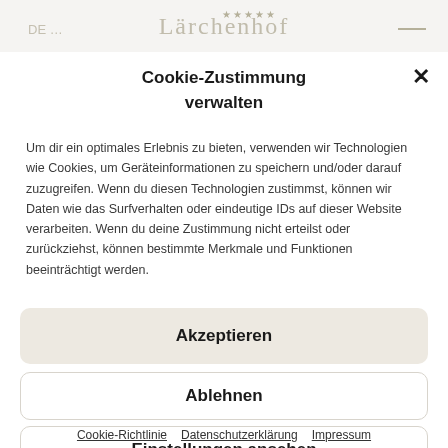Lärchenhof
Cookie-Zustimmung verwalten
Um dir ein optimales Erlebnis zu bieten, verwenden wir Technologien wie Cookies, um Geräteinformationen zu speichern und/oder darauf zuzugreifen. Wenn du diesen Technologien zustimmst, können wir Daten wie das Surfverhalten oder eindeutige IDs auf dieser Website verarbeiten. Wenn du deine Zustimmung nicht erteilst oder zurückziehst, können bestimmte Merkmale und Funktionen beeinträchtigt werden.
Akzeptieren
Ablehnen
Einstellungen ansehen
Cookie-Richtlinie  Datenschutzerklärung  Impressum